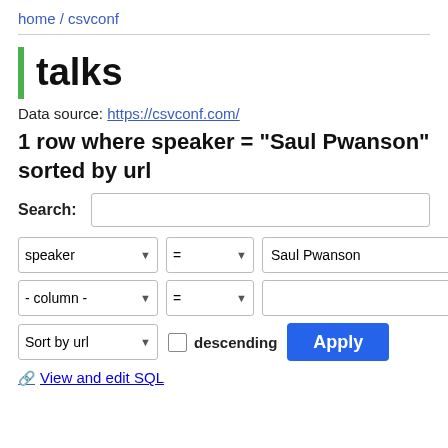home / csvconf
talks
Data source: https://csvconf.com/
1 row where speaker = "Saul Pwanson" sorted by url
Search:
speaker = Saul Pwanson
- column - =
Sort by url  descending  Apply
View and edit SQL